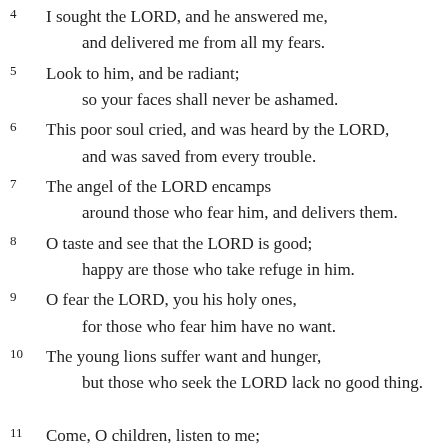4 I sought the LORD, and he answered me, and delivered me from all my fears.
5 Look to him, and be radiant; so your faces shall never be ashamed.
6 This poor soul cried, and was heard by the LORD, and was saved from every trouble.
7 The angel of the LORD encamps around those who fear him, and delivers them.
8 O taste and see that the LORD is good; happy are those who take refuge in him.
9 O fear the LORD, you his holy ones, for those who fear him have no want.
10 The young lions suffer want and hunger, but those who seek the LORD lack no good thing.
11 Come, O children, listen to me; I will teach you the fear of the LORD.